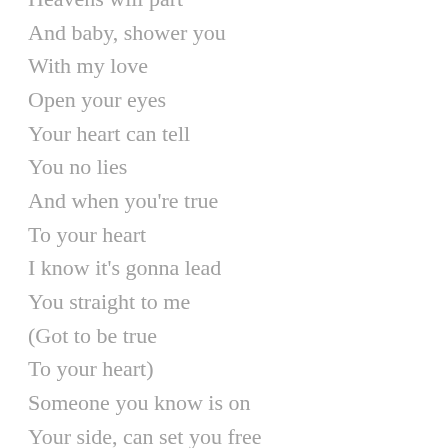Heavens will part
And baby, shower you
With my love
Open your eyes
Your heart can tell
You no lies
And when you're true
To your heart
I know it's gonna lead
You straight to me
(Got to be true
To your heart)
Someone you know is on
Your side, can set you free
I can do that for you if
You believe in me
Why second-guess